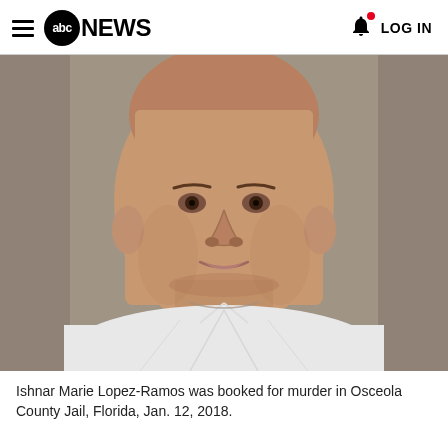≡ abcNEWS   🔔 LOG IN
[Figure (photo): Mugshot of Ishnar Marie Lopez-Ramos, a woman with a shaved head wearing a white top, taken at Osceola County Jail, Florida.]
Ishnar Marie Lopez-Ramos was booked for murder in Osceola County Jail, Florida, Jan. 12, 2018.